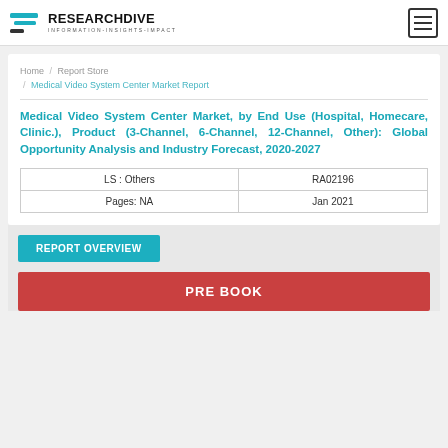RESEARCH DIVE | INFORMATION-INSIGHTS-IMPACT
Home / Report Store / Medical Video System Center Market Report
Medical Video System Center Market, by End Use (Hospital, Homecare, Clinic.), Product (3-Channel, 6-Channel, 12-Channel, Other): Global Opportunity Analysis and Industry Forecast, 2020-2027
| LS : Others | RA02196 |
| --- | --- |
| Pages: NA | Jan 2021 |
REPORT OVERVIEW
PRE BOOK